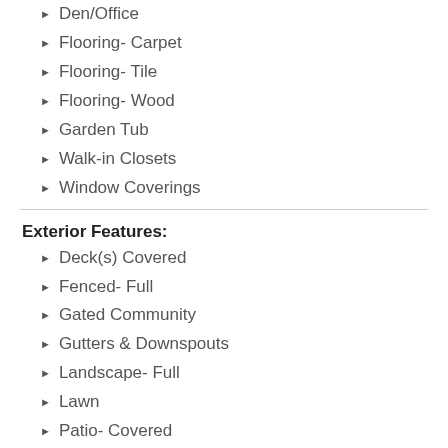Den/Office
Flooring- Carpet
Flooring- Tile
Flooring- Wood
Garden Tub
Walk-in Closets
Window Coverings
Exterior Features:
Deck(s) Covered
Fenced- Full
Gated Community
Gutters & Downspouts
Landscape- Full
Lawn
Patio- Covered
Pond
Sidewalks